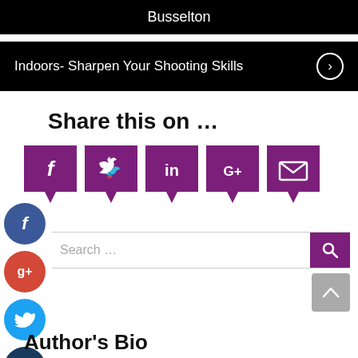Busselton
Indoors- Sharpen Your Shooting Skills
Share this on …
[Figure (infographic): Five purple speech-bubble social sharing icons: Facebook (f), Twitter (bird), LinkedIn (in), Google+ (G+), Email (envelope)]
[Figure (infographic): Four circular social media buttons stacked vertically on left side: Facebook (dark blue), Google+ (red-orange), Twitter (light blue), Plus/more (dark navy)]
Search ...
Author's Bio